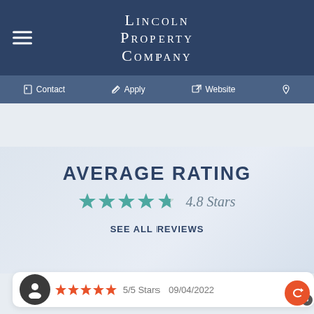Lincoln Property Company
Contact  Apply  Website
[Figure (photo): Hero background image showing faint teacup shapes]
AVERAGE RATING
4.8 Stars (star rating display with 4.8 out of 5 stars)
SEE ALL REVIEWS
5/5 Stars  09/04/2022